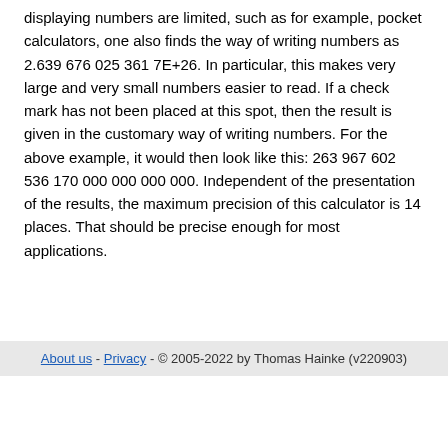displaying numbers are limited, such as for example, pocket calculators, one also finds the way of writing numbers as 2.639 676 025 361 7E+26. In particular, this makes very large and very small numbers easier to read. If a check mark has not been placed at this spot, then the result is given in the customary way of writing numbers. For the above example, it would then look like this: 263 967 602 536 170 000 000 000 000. Independent of the presentation of the results, the maximum precision of this calculator is 14 places. That should be precise enough for most applications.
About us - Privacy - © 2005-2022 by Thomas Hainke (v220903)